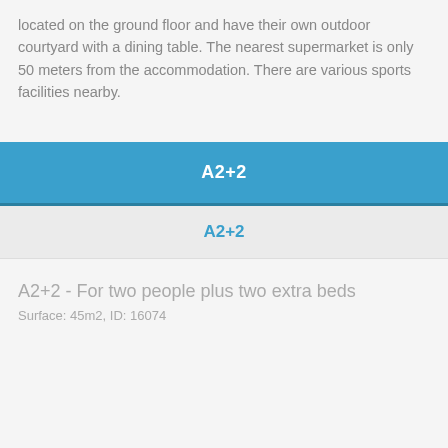located on the ground floor and have their own outdoor courtyard with a dining table. The nearest supermarket is only 50 meters from the accommodation. There are various sports facilities nearby.
A2+2
A2+2
A2+2 - For two people plus two extra beds
Surface: 45m2, ID: 16074